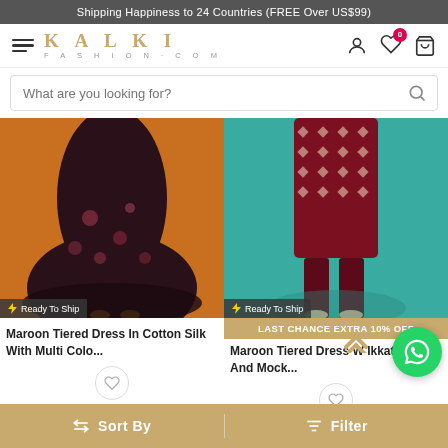Shipping Happiness to 24 Countries (FREE Over US$99)
[Figure (logo): Kalki Fashion.com logo with hamburger menu and navigation icons (user, wishlist with badge 0, cart)]
What are you looking for?
[Figure (photo): Maroon tiered dress in cotton silk with multi color floral print on orange background, lower body view, Ready To Ship badge]
[Figure (photo): Maroon tiered dress with Ikkat print and mock neck on teal background, lower body view, Ready To Ship badge, LAST CHANCE EXTRA 10% OFF banner]
Maroon Tiered Dress In Cotton Silk With Multi Colo...
LAST CHANCE EXTRA 10% OFF
Maroon Tiered Dress W Ikkat Print And Mock...